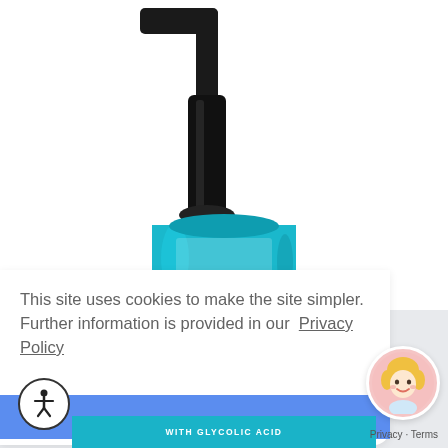[Figure (photo): A teal/blue glass pump bottle with black pump dispenser, shown against a white background. The bottle is cylindrical with a rounded bottom.]
This site uses cookies to make the site simpler. Further information is provided in our  Privacy Policy
[Figure (illustration): Blue button (cookie acceptance button)]
[Figure (illustration): Circular accessibility icon with human figure with arms outstretched (wheelchair accessibility symbol)]
[Figure (illustration): Round avatar icon showing a cartoon blonde woman's face with pink background]
WITH GLYCOLIC ACID
Privacy · Terms